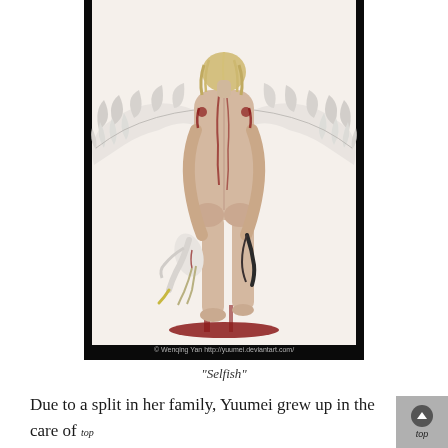[Figure (illustration): Digital artwork showing a winged female figure from behind, nude, with wings growing from her back. She holds a dead white bird (heron/egret) in her left hand and a dark blade or feather in her right. Blood is visible on her back and pooling at her feet. The background is black. Watermark reads: © Wenqing Yan http://yuumei.deviantart.com/]
"Selfish"
Due to a split in her family, Yuumei grew up in the care of her grandparents and spent the first nine years of her